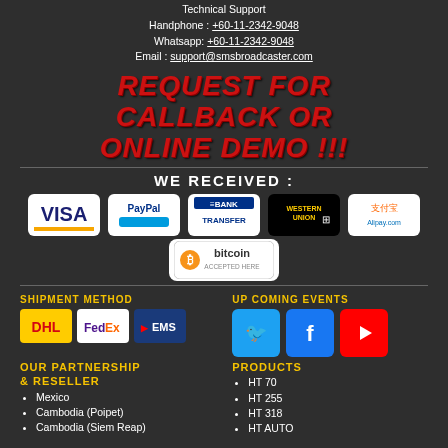Technical Support
Handphone : +60-11-2342-9048
Whatsapp: +60-11-2342-9048
Email : support@smsbroadcaster.com
REQUEST FOR CALLBACK OR ONLINE DEMO !!!
WE RECEIVED :
[Figure (infographic): Payment method logos: VISA, PayPal, Bank Transfer, Western Union, Alipay, Bitcoin Accepted Here]
SHIPMENT METHOD
[Figure (infographic): Shipment logos: DHL, FedEx, EMS]
UP COMING EVENTS
[Figure (infographic): Social media icons: Twitter, Facebook, YouTube]
OUR PARTNERSHIP & RESELLER
Mexico
Cambodia (Poipet)
Cambodia (Siem Reap)
PRODUCTS
HT 70
HT 255
HT 318
HT AUTO